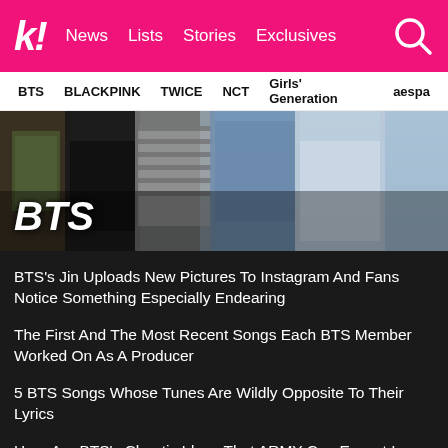k! News Lists Stories Exclusives
BTS  BLACKPINK  TWICE  NCT  Girls' Generation  aespa
[Figure (photo): Hero banner photo showing BTS members from waist down, standing in various outfits including black pants, striped shirt, blue shirt and light jeans. White text 'BTS' overlaid in bold italic on lower left.]
BTS's Jin Uploads New Pictures To Instagram And Fans Notice Something Especially Endearing
The First And The Most Recent Songs Each BTS Member Worked On As A Producer
5 BTS Songs Whose Tunes Are Wildly Opposite To Their Lyrics
Here Are BTS's Chaotic Ideas That ARMY Can Expect In The Next Episode Of “Run BTS!”
See more BTS